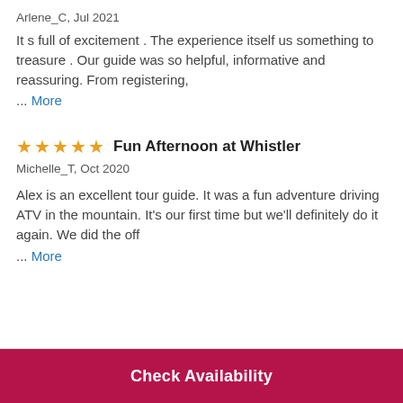Arlene_C, Jul 2021
It s full of excitement . The experience itself us something to treasure . Our guide was so helpful, informative and reassuring. From registering,
... More
★★★★★ Fun Afternoon at Whistler
Michelle_T, Oct 2020
Alex is an excellent tour guide. It was a fun adventure driving ATV in the mountain. It's our first time but we'll definitely do it again. We did the off
... More
Check Availability